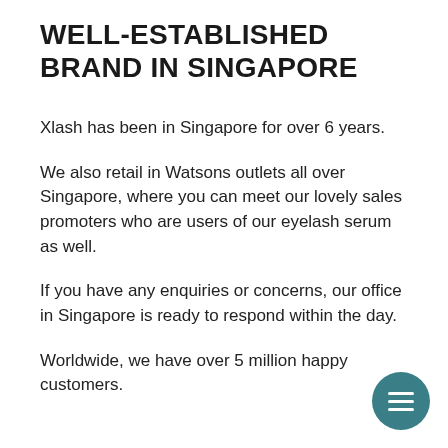WELL-ESTABLISHED BRAND IN SINGAPORE
Xlash has been in Singapore for over 6 years.
We also retail in Watsons outlets all over Singapore, where you can meet our lovely sales promoters who are users of our eyelash serum as well.
If you have any enquiries or concerns, our office in Singapore is ready to respond within the day.
Worldwide, we have over 5 million happy customers.
[Figure (other): Teal circular menu button with three horizontal white bars (hamburger icon) in the bottom-right corner]